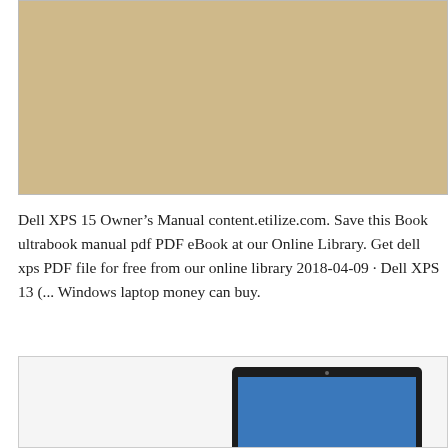[Figure (photo): A tan/beige colored background image, appearing to be part of a laptop or device surface.]
Dell XPS 15 Owner's Manual content.etilize.com. Save this Book ultrabook manual pdf PDF eBook at our Online Library. Get dell xps PDF file for free from our online library 2018-04-09 · Dell XPS 13 (... Windows laptop money can buy.
[Figure (photo): Partial view of a Dell XPS laptop showing the screen with a blue background, with a thin bezel and visible camera dot at top.]